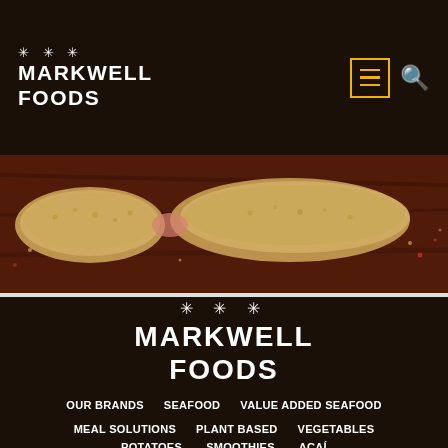MARKWELL FOODS
[Figure (photo): Close-up photo of breaded/fried seafood or food items on a dark wooden surface with scattered crumbs and spices]
[Figure (logo): Markwell Foods logo with decorative stars above the text MARKWELL FOODS on dark background]
OUR BRANDS
SEAFOOD
VALUE ADDED SEAFOOD
MEAL SOLUTIONS
PLANT BASED
VEGETABLES
POTATOES
SMOOTHIES
AÇAÍ